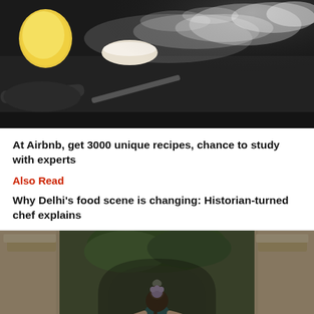[Figure (photo): Dark kitchen scene with flour being sprinkled, a lemon, and cooking utensils on a dark surface]
At Airbnb, get 3000 unique recipes, chance to study with experts
Also Read
Why Delhi's food scene is changing: Historian-turned chef explains
[Figure (photo): Indian classical dancer in traditional attire performing under a stone archway in a heritage building, viewed from behind]